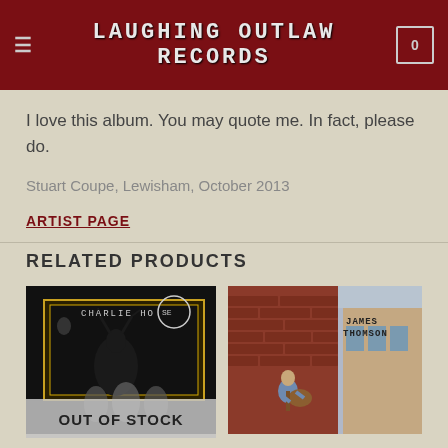LAUGHING OUTLAW RECORDS
I love this album. You may quote me. In fact, please do.
Stuart Coupe, Lewisham, October 2013
ARTIST PAGE
RELATED PRODUCTS
[Figure (photo): Album cover for Charlie Horse with OUT OF STOCK overlay]
[Figure (photo): Album cover for James Thomson showing musician playing guitar on rooftop]